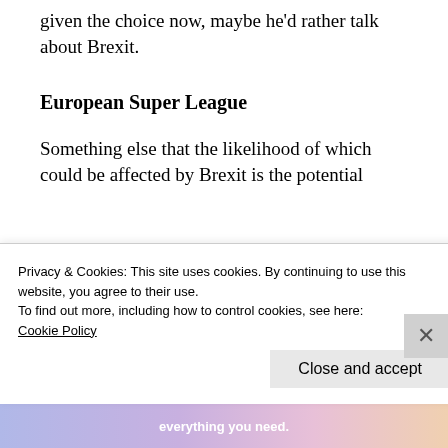given the choice now, maybe he'd rather talk about Brexit.
European Super League
Something else that the likelihood of which could be affected by Brexit is the potential formation of a European Super League.
Privacy & Cookies: This site uses cookies. By continuing to use this website, you agree to their use.
To find out more, including how to control cookies, see here: Cookie Policy
Close and accept